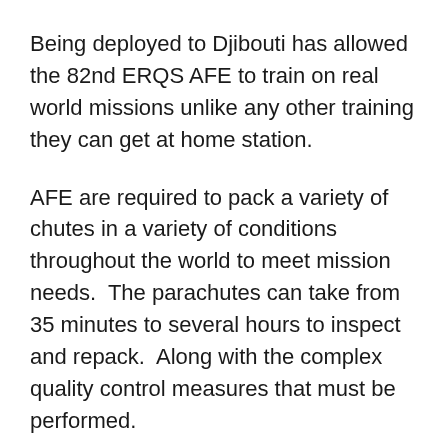Being deployed to Djibouti has allowed the 82nd ERQS AFE to train on real world missions unlike any other training they can get at home station.
AFE are required to pack a variety of chutes in a variety of conditions throughout the world to meet mission needs.  The parachutes can take from 35 minutes to several hours to inspect and repack.  Along with the complex quality control measures that must be performed.
“We just try to be the best that we can. We preach quality, quantity and efficiency,” Corniel said. “We are combined with a variety of military forces being deployed, so our guys get to train on more scenarios